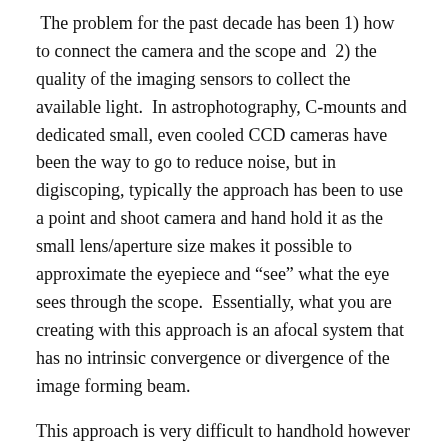The problem for the past decade has been 1) how to connect the camera and the scope and 2) the quality of the imaging sensors to collect the available light. In astrophotography, C-mounts and dedicated small, even cooled CCD cameras have been the way to go to reduce noise, but in digiscoping, typically the approach has been to use a point and shoot camera and hand hold it as the small lens/aperture size makes it possible to approximate the eyepiece and “see” what the eye sees through the scope. Essentially, what you are creating with this approach is an afocal system that has no intrinsic convergence or divergence of the image forming beam.
This approach is very difficult to handhold however and leads to uneven success in getting the photograph you want. Different adapters and brackets have emerged over the past few years to make it possible to mount